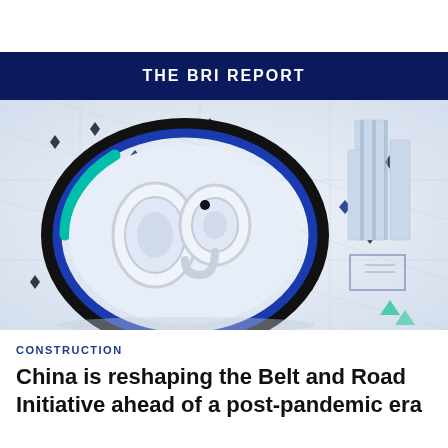THE BRI REPORT
[Figure (illustration): 3D isometric illustration of a large circular ring with blue and teal accent, containing abstract infrastructure or data center shapes on a light geometric grid background with diamond markers]
CONSTRUCTION
China is reshaping the Belt and Road Initiative ahead of a post-pandemic era